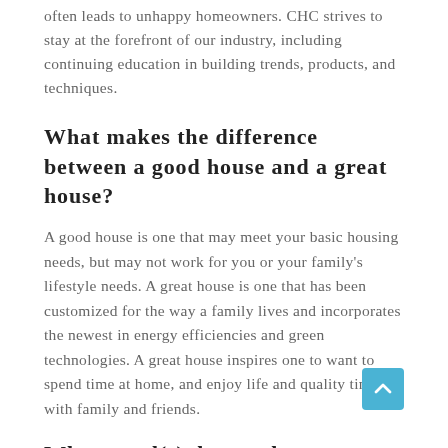often leads to unhappy homeowners. CHC strives to stay at the forefront of our industry, including continuing education in building trends, products, and techniques.
What makes the difference between a good house and a great house?
A good house is one that may meet your basic housing needs, but may not work for you or your family's lifestyle needs. A great house is one that has been customized for the way a family lives and incorporates the newest in energy efficiencies and green technologies. A great house inspires one to want to spend time at home, and enjoy life and quality time with family and friends.
What word(s) do people use to